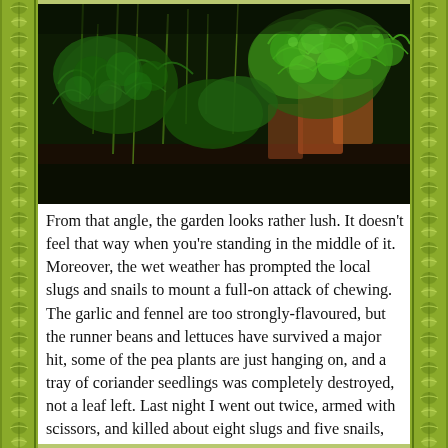[Figure (photo): Close-up photograph of lush green garden plants including curly parsley and tall thin stems, with terracotta pots visible in the background. Dense foliage photographed from above at an angle.]
From that angle, the garden looks rather lush. It doesn't feel that way when you're standing in the middle of it. Moreover, the wet weather has prompted the local slugs and snails to mount a full-on attack of chewing. The garlic and fennel are too strongly-flavoured, but the runner beans and lettuces have survived a major hit, some of the pea plants are just hanging on, and a tray of coriander seedlings was completely destroyed, not a leaf left. Last night I went out twice, armed with scissors, and killed about eight slugs and five snails, stabbing the snails thoroughly and snipping the slugs in half. Well, it's better for the